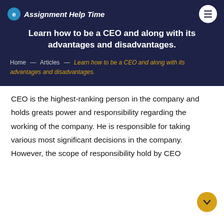Assignment Help Time
Learn how to be a CEO and along with its advantages and disadvantages.
Home — Articles — Learn how to be a CEO and along with its advantages and disadvantages.
CEO is the highest-ranking person in the company and holds greats power and responsibility regarding the working of the company. He is responsible for taking various most significant decisions in the company. However, the scope of responsibility hold by CEO